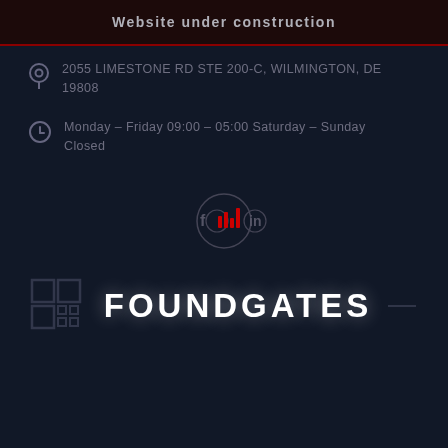Website under construction
2055 LIMESTONE RD STE 200-C, WILMINGTON, DE 19808
Monday – Friday  09:00 – 05:00 Saturday – Sunday Closed
[Figure (logo): Social media icons row: Facebook, Twitter/X, chart bars icon, LinkedIn]
[Figure (logo): Foundgates brand logo with grid icon and FOUNDGATES text]